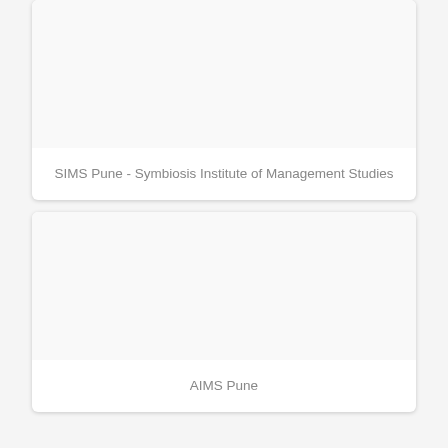[Figure (photo): Card with image placeholder for SIMS Pune - Symbiosis Institute of Management Studies]
SIMS Pune - Symbiosis Institute of Management Studies
[Figure (photo): Card with image placeholder for AIMS Pune]
AIMS Pune